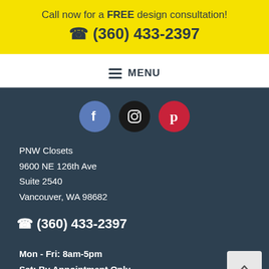Call now for a FREE design consultation!
☎ (360) 433-2397
≡ MENU
[Figure (infographic): Three social media icons: Facebook (blue circle), Instagram (black circle), Pinterest (red circle)]
PNW Closets
9600 NE 126th Ave
Suite 2540
Vancouver, WA 98682
☎ (360) 433-2397
Mon - Fri: 8am-5pm
Sat: By Appointment Only
WA: PNWCLC*801BW